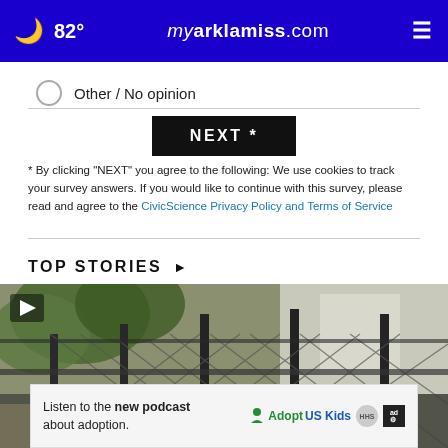82° myarklamiss.com
Other / No opinion
NEXT *
* By clicking "NEXT" you agree to the following: We use cookies to track your survey answers. If you would like to continue with this survey, please read and agree to the CivicScience Privacy Policy and Terms of Service
TOP STORIES ›
[Figure (photo): Video thumbnail showing a chain-link fence with buildings and trees in background, with a play button overlay and close button. An advertisement banner at the bottom reads: Listen to the new podcast about adoption. with Adopt US Kids, HHS, and ad logos.]